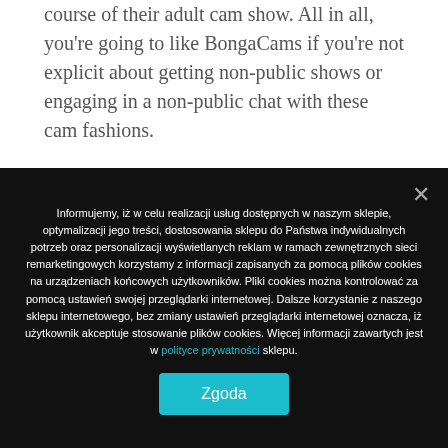course of their adult cam show. All in all, you're going to like BongaCams if you're not explicit about getting non-public shows or engaging in a non-public chat with these cam fashions.
Being capable of engage in a live sex show over your mobile phone or pill system is a deal with that did not
Informujemy, iż w celu realizacji usług dostępnych w naszym sklepie, optymalizacji jego treści, dostosowania sklepu do Państwa indywidualnych potrzeb oraz personalizacji wyświetlanych reklam w ramach zewnętrznych sieci remarketingowych korzystamy z informacji zapisanych za pomocą plików cookies na urządzeniach końcowych użytkowników. Pliki cookies można kontrolować za pomocą ustawień swojej przeglądarki internetowej. Dalsze korzystanie z naszego sklepu internetowego, bez zmiany ustawień przeglądarki internetowej oznacza, iż użytkownik akceptuje stosowanie plików cookies. Więcej informacji zawartych jest w polityce prywatności sklepu.
Zgoda